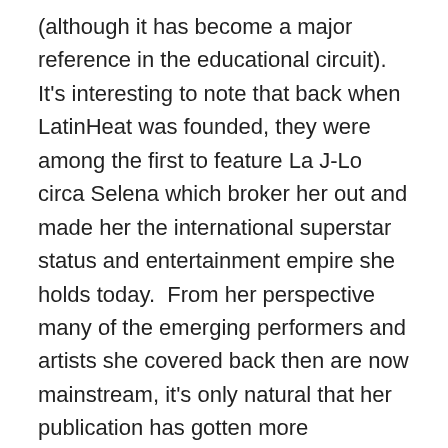(although it has become a major reference in the educational circuit).  It's interesting to note that back when LatinHeat was founded, they were among the first to feature La J-Lo circa Selena which broker her out and made her the international superstar status and entertainment empire she holds today.  From her perspective many of the emerging performers and artists she covered back then are now mainstream, it's only natural that her publication has gotten more Hollywood.  LatinHeat continues to feature emerging and independent American Latinos like the Chamacas web series and the independent feature Mission Park and its wildly talented cast including Joseph Julian Soriana, Jeremy Ray Valdez and Walter Perez.  Both Juan Caceres and I come from the film festival programming world and we talked about our desire to get these films out there regardless of